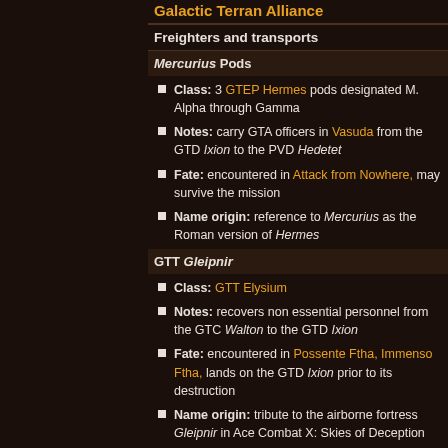Galactic Terran Alliance
Freighters and transports
Mercurius Pods
Class: 3 GTEP Hermes pods designated M. Alpha through Gamma
Notes: carry GTA officers in Vasuda from the GTD Ixion to the PVD Hedetet
Fate: encountered in Attack from Nowhere, may survive the mission
Name origin: reference to Mercurius as the Roman version of Hermes
GTT Gleipnir
Class: GTT Elysium
Notes: recovers non essential personnel from the GTC Walton to the GTD Ixion
Fate: encountered in Possente Ftha, Immenso Ftha, lands on the GTD Ixion prior to its destruction
Name origin: tribute to the airborne fortress Gleipnir in Ace Combat X: Skies of Deception